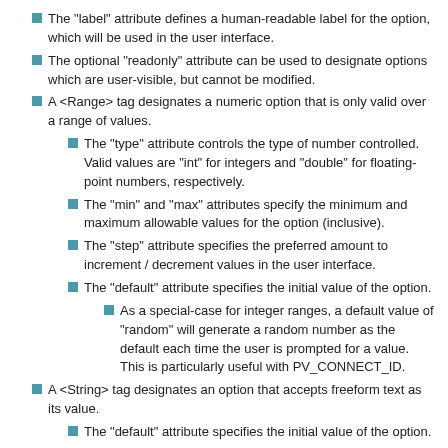The "label" attribute defines a human-readable label for the option, which will be used in the user interface.
The optional "readonly" attribute can be used to designate options which are user-visible, but cannot be modified.
A <Range> tag designates a numeric option that is only valid over a range of values.
The "type" attribute controls the type of number controlled. Valid values are "int" for integers and "double" for floating-point numbers, respectively.
The "min" and "max" attributes specify the minimum and maximum allowable values for the option (inclusive).
The "step" attribute specifies the preferred amount to increment / decrement values in the user interface.
The "default" attribute specifies the initial value of the option.
As a special-case for integer ranges, a default value of "random" will generate a random number as the default each time the user is prompted for a value. This is particularly useful with PV_CONNECT_ID.
A <String> tag designates an option that accepts freeform text as its value.
The "default" attribute specifies the initial value of the option.